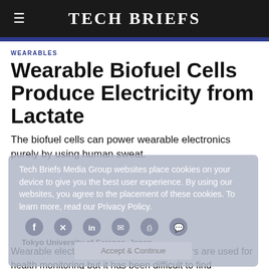Tech Briefs
WEARABLES
Wearable Biofuel Cells Produce Electricity from Lactate
The biofuel cells can power wearable electronics purely by using human sweat.
Tokyo University of Science, Japan
Wearable electronic devices and biosensors are used for health monitoring but it has been difficult to find convenient power sources for them. Scientists have now developed and tested a